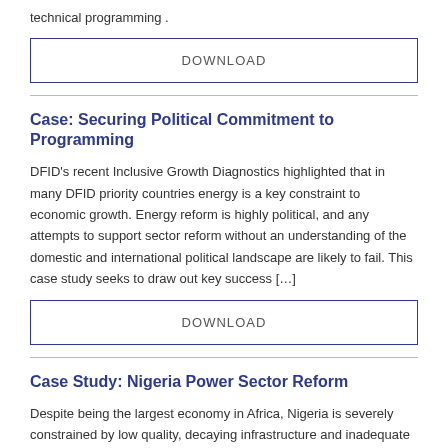technical programming .
DOWNLOAD
Case: Securing Political Commitment to Programming
DFID's recent Inclusive Growth Diagnostics highlighted that in many DFID priority countries energy is a key constraint to economic growth. Energy reform is highly political, and any attempts to support sector reform without an understanding of the domestic and international political landscape are likely to fail. This case study seeks to draw out key success […]
DOWNLOAD
Case Study: Nigeria Power Sector Reform
Despite being the largest economy in Africa, Nigeria is severely constrained by low quality, decaying infrastructure and inadequate power supply. Responding to these constraints DFID established the Nigeria Infrastructure Advisory Facility (NIAF), a demand driven technical assistance programme to support more Phase 1 ran from November 2007 to November 2011 (£32.6 million). NIAF II continued […]